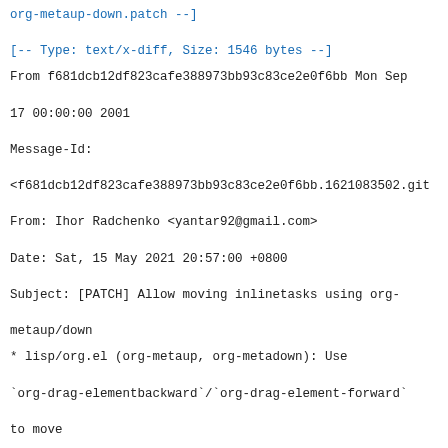org-metaup-down.patch --]
[-- Type: text/x-diff, Size: 1546 bytes --]
From f681dcb12df823cafe388973bb93c83ce2e0f6bb Mon Sep
17 00:00:00 2001
Message-Id:
<f681dcb12df823cafe388973bb93c83ce2e0f6bb.1621083502.git
From: Ihor Radchenko <yantar92@gmail.com>
Date: Sat, 15 May 2021 20:57:00 +0800
Subject: [PATCH] Allow moving inlinetasks using org-
metaup/down
* lisp/org.el (org-metaup, org-metadown): Use
`org-drag-elementbackward`/`org-drag-element-forward`
to move
inlinetasks.
---
 lisp/org.el | 4 ++--
 1 file changed, 2 insertions(+), 2 deletions(-)
diff --git a/lisp/org.el b/lisp/org.el
index ccf438f70..d031e6916 100644
--- a/lisp/org.el
+++ b/lisp/org.el
@@ -16213,7 +16213,7 @@ (defun org-metaup (&optional
_arg)
    ((org-at-table-p) (org-call-with-arg 'org-table-
move-row 'up))
    ((and (featurep 'org-inlinetask)
          (org-inlinetask-in-task-p))